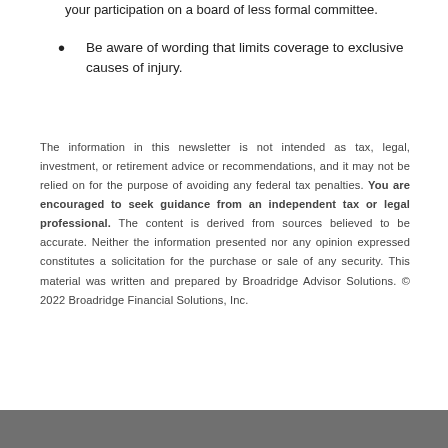your participation on a board of less formal committee.
Be aware of wording that limits coverage to exclusive causes of injury.
The information in this newsletter is not intended as tax, legal, investment, or retirement advice or recommendations, and it may not be relied on for the purpose of avoiding any federal tax penalties. You are encouraged to seek guidance from an independent tax or legal professional. The content is derived from sources believed to be accurate. Neither the information presented nor any opinion expressed constitutes a solicitation for the purchase or sale of any security. This material was written and prepared by Broadridge Advisor Solutions. © 2022 Broadridge Financial Solutions, Inc.